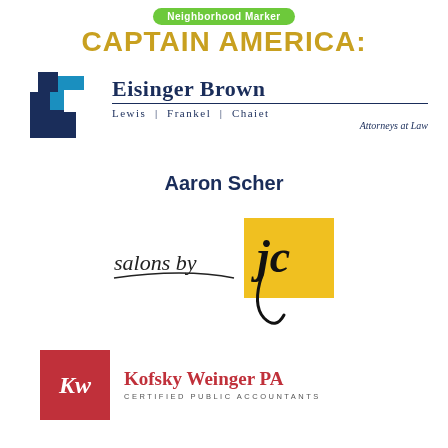Neighborhood Marker
CAPTAIN AMERICA:
[Figure (logo): Eisinger Brown Lewis Frankel Chaiet Attorneys at Law logo with blue square graphic and text]
Aaron Scher
[Figure (logo): Salons by JC logo with yellow square and script jc lettering]
[Figure (logo): Kofsky Weinger PA Certified Public Accountants logo with red square and Kw monogram]